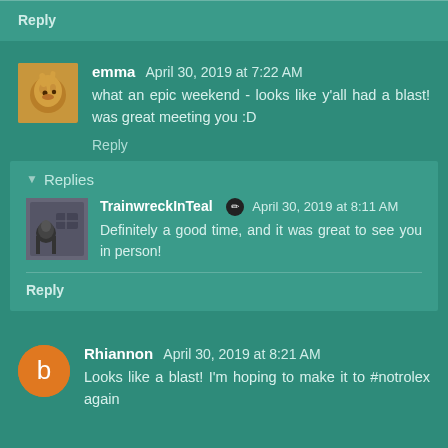Reply
emma April 30, 2019 at 7:22 AM
what an epic weekend - looks like y'all had a blast! was great meeting you :D
Reply
Replies
TrainwreckInTeal April 30, 2019 at 8:11 AM
Definitely a good time, and it was great to see you in person!
Reply
Rhiannon April 30, 2019 at 8:21 AM
Looks like a blast! I'm hoping to make it to #notrolex again